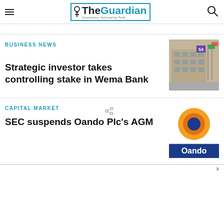The Guardian — Conscience, Nurtured by Truth
BUSINESS NEWS
Strategic investor takes controlling stake in Wema Bank
[Figure (photo): Exterior of a building (likely Wema Bank branch) with flagpoles and flags, and the number 54 visible.]
CAPITAL MARKET
SEC suspends Oando Plc's AGM
[Figure (photo): Close-up of Oando logo signage — orange and blue circular logo with 'Oando' text on white background.]